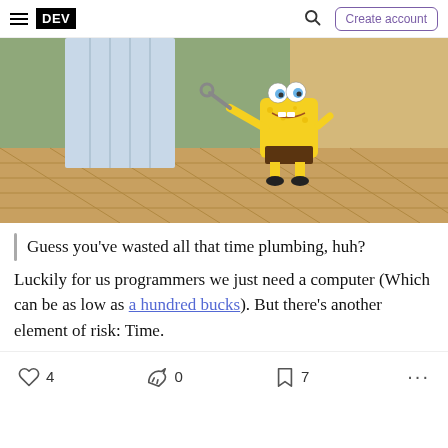DEV — Create account
[Figure (illustration): SpongeBob SquarePants cartoon scene: SpongeBob holding a wrench/tool, standing on a wooden parquet floor next to a large white pillar/curtain, with green wall and beige board in background.]
Guess you've wasted all that time plumbing, huh?
Luckily for us programmers we just need a computer (Which can be as low as a hundred bucks). But there's another element of risk: Time.
4 likes · 0 unicorns · 7 bookmarks